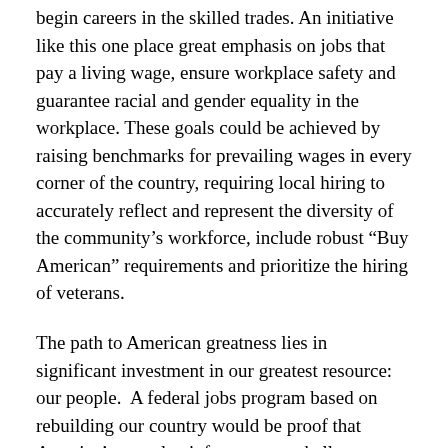begin careers in the skilled trades. An initiative like this one place great emphasis on jobs that pay a living wage, ensure workplace safety and guarantee racial and gender equality in the workplace. These goals could be achieved by raising benchmarks for prevailing wages in every corner of the country, requiring local hiring to accurately reflect and represent the diversity of the community's workforce, include robust “Buy American” requirements and prioritize the hiring of veterans.
The path to American greatness lies in significant investment in our greatest resource: our people. A federal jobs program based on rebuilding our country would be proof that America’s complex infrastructure challenges can be met by following the simple principle that public money should go toward the public good.
MI-09 is a reliable Democratic district, which Sandy Levin, who has represented it for three-and-a-half decades, is